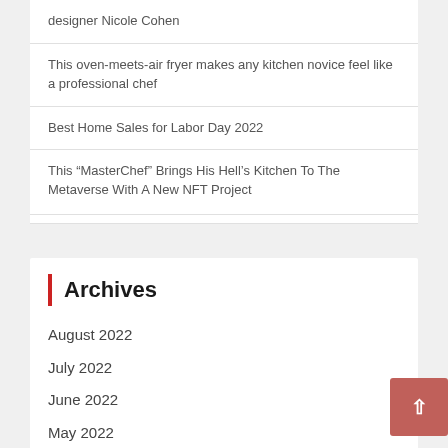designer Nicole Cohen
This oven-meets-air fryer makes any kitchen novice feel like a professional chef
Best Home Sales for Labor Day 2022
This “MasterChef” Brings His Hell’s Kitchen To The Metaverse With A New NFT Project
Archives
August 2022
July 2022
June 2022
May 2022
April 2022
March 2022
February 2022